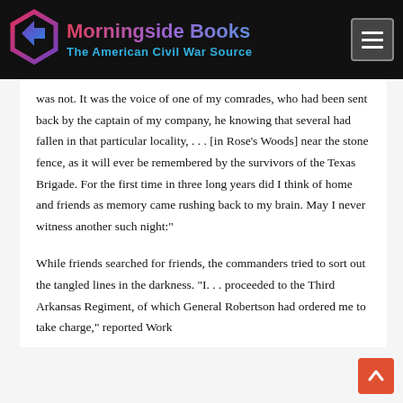Morningside Books — The American Civil War Source
was not. It was the voice of one of my comrades, who had been sent back by the captain of my company, he knowing that several had fallen in that particular locality, . . . [in Rose’s Woods] near the stone fence, as it will ever be remembered by the survivors of the Texas Brigade. For the first time in three long years did I think of home and friends as memory came rushing back to my brain. May I never witness another such night:”
While friends searched for friends, the commanders tried to sort out the tangled lines in the darkness. “I. . . proceeded to the Third Arkansas Regiment, of which General Robertson had ordered me to take charge,” reported Work